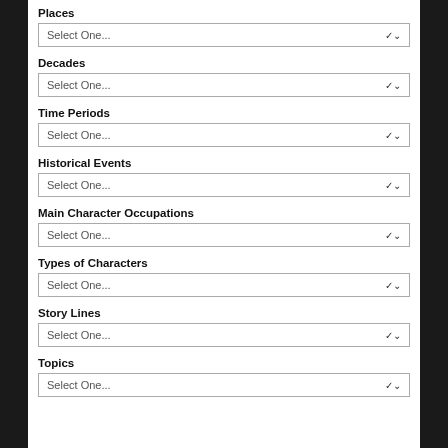Places
Select One...
Decades
Select One...
Time Periods
Select One...
Historical Events
Select One...
Main Character Occupations
Select One...
Types of Characters
Select One...
Story Lines
Select One...
Topics
Select One...